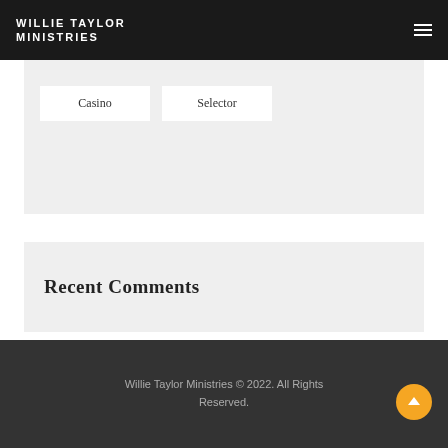Willie Taylor Ministries
Casino
Selector
Recent Comments
Willie Taylor Ministries © 2022. All Rights Reserved.